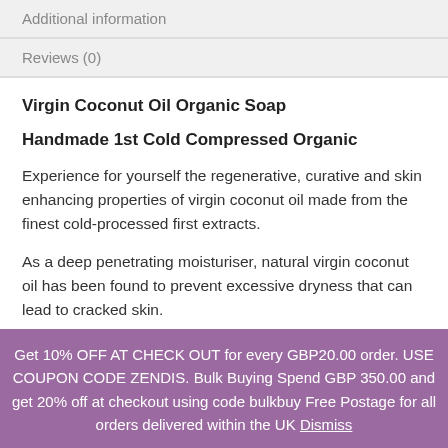Additional information
Reviews (0)
Virgin Coconut Oil Organic Soap
Handmade 1st Cold Compressed Organic
Experience for yourself the regenerative, curative and skin enhancing properties of virgin coconut oil made from the finest cold-processed first extracts.
As a deep penetrating moisturiser, natural virgin coconut oil has been found to prevent excessive dryness that can lead to cracked skin.
Get 10% OFF AT CHECK OUT for every GBP20.00 order. USE COUPON CODE ZENDIS. Bulk Buying Spend GBP 350.00 and get 20% off at checkout using code bulkbuy Free Postage for all orders delivered within the UK Dismiss